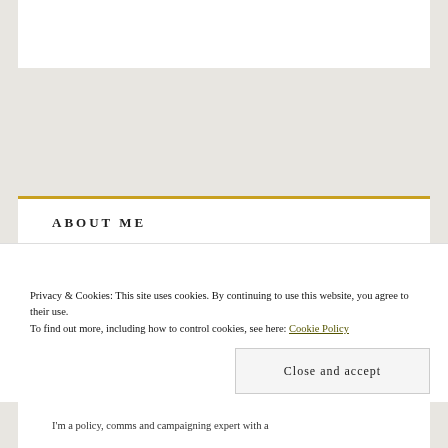ABOUT ME
[Figure (photo): Portrait photo of a man looking upward thoughtfully with hand near chin, against a light gray background]
Privacy & Cookies: This site uses cookies. By continuing to use this website, you agree to their use.
To find out more, including how to control cookies, see here: Cookie Policy
Close and accept
I'm a policy, comms and campaigning expert with a